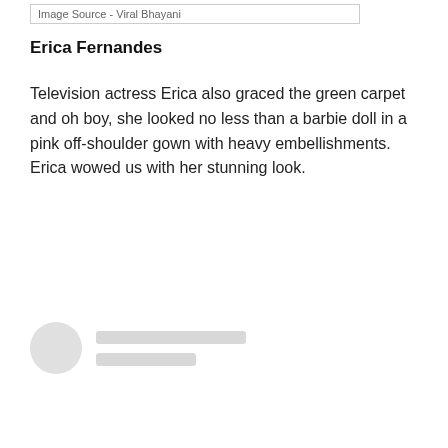Image Source - Viral Bhayani
Erica Fernandes
Television actress Erica also graced the green carpet and oh boy, she looked no less than a barbie doll in a pink off-shoulder gown with heavy embellishments. Erica wowed us with her stunning look.
[Figure (other): Author avatar placeholder with two grey loading bars representing author name and metadata]